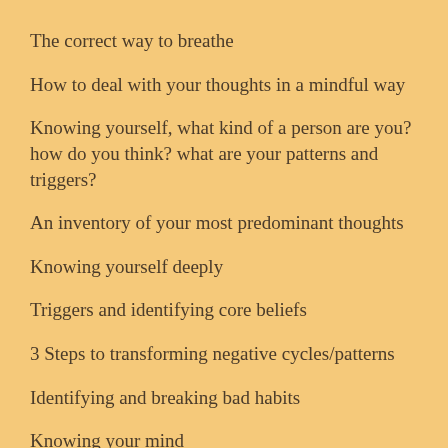The correct way to breathe
How to deal with your thoughts in a mindful way
Knowing yourself, what kind of a person are you? how do you think? what are your patterns and triggers?
An inventory of your most predominant thoughts
Knowing yourself deeply
Triggers and identifying core beliefs
3 Steps to transforming negative cycles/patterns
Identifying and breaking bad habits
Knowing your mind